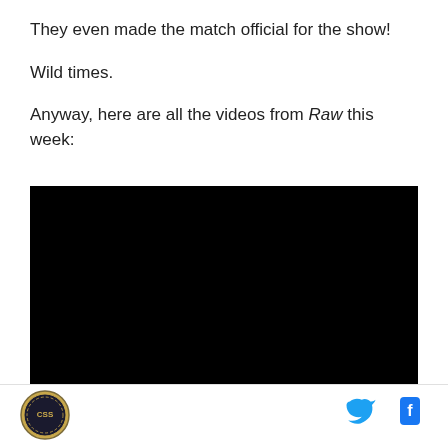They even made the match official for the show!
Wild times.
Anyway, here are all the videos from Raw this week:
[Figure (screenshot): Black video player embed area]
[Figure (logo): Cageside Seats circular badge logo in lower left footer]
[Figure (infographic): Twitter bird icon and Facebook f icon in footer right]